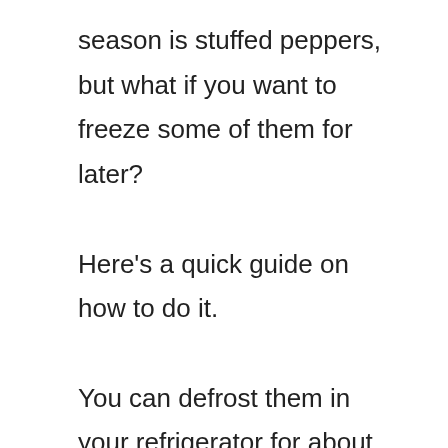season is stuffed peppers, but what if you want to freeze some of them for later? Here's a quick guide on how to do it. You can defrost them in your refrigerator for about 20-30 minutes or, if you have a microwave oven or plan to leave them on the counter, you can simply place the peppers ina plastic bag. Some recipes for stuffed peppers call for a defrosting time, but many don't and I